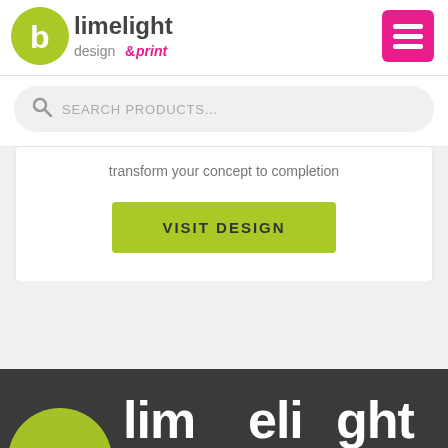[Figure (logo): Limelight Design & Print logo with lime-green circle icon and text]
[Figure (screenshot): Pink/magenta hamburger menu button (three horizontal lines)]
SEARCH PRODUCTS...
transform your concept to completion
VISIT DESIGN
[Figure (logo): Limelight logo partial view on dark background at bottom of page]